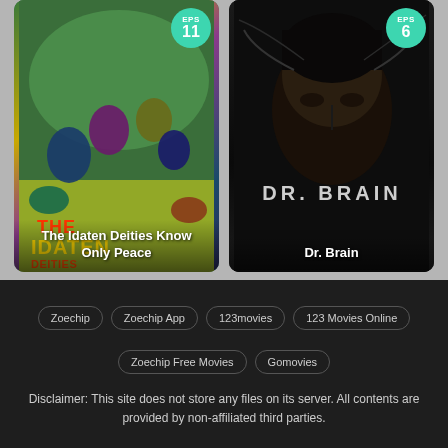[Figure (screenshot): Anime show card for 'The Idaten Deities Know Only Peace' with EPS 11 badge]
The Idaten Deities Know Only Peace
[Figure (screenshot): Dark live-action show card for 'Dr. Brain' with EPS 6 badge]
Dr. Brain
Zoechip
Zoechip App
123movies
123 Movies Online
Zoechip Free Movies
Gomovies
Disclaimer: This site does not store any files on its server. All contents are provided by non-affiliated third parties.